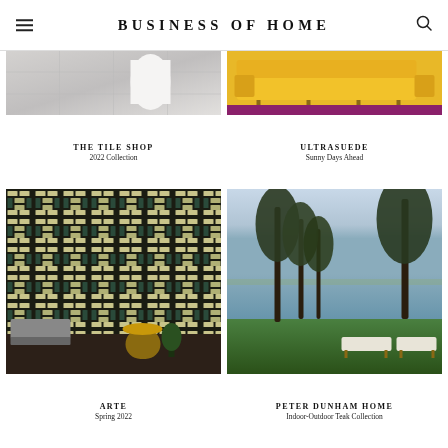BUSINESS OF HOME
[Figure (photo): The Tile Shop - 2022 Collection product photo showing tiles]
THE TILE SHOP
2022 Collection
[Figure (photo): Ultrasuede - Sunny Days Ahead showing yellow sofa on colorful rug]
ULTRASUEDE
Sunny Days Ahead
[Figure (photo): Arte - Spring 2022 showing geometric patterned wallpaper with dark teal and cream tones, room with grey furniture]
ARTE
Spring 2022
[Figure (photo): Peter Dunham Home - Indoor-Outdoor Teak Collection showing outdoor teak furniture by waterfront with trees]
PETER DUNHAM HOME
Indoor-Outdoor Teak Collection